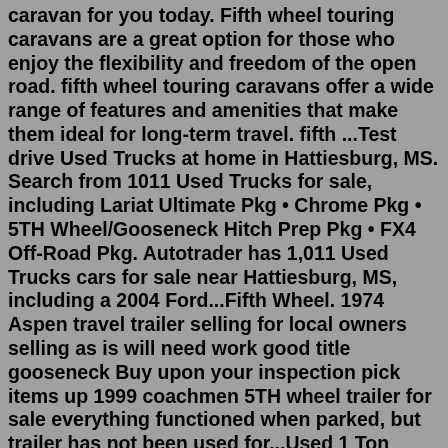caravan for you today. Fifth wheel touring caravans are a great option for those who enjoy the flexibility and freedom of the open road. fifth wheel touring caravans offer a wide range of features and amenities that make them ideal for long-term travel. fifth ...Test drive Used Trucks at home in Hattiesburg, MS. Search from 1011 Used Trucks for sale, including Lariat Ultimate Pkg • Chrome Pkg • 5TH Wheel/Gooseneck Hitch Prep Pkg • FX4 Off-Road Pkg. Autotrader has 1,011 Used Trucks cars for sale near Hattiesburg, MS, including a 2004 Ford...Fifth Wheel. 1974 Aspen travel trailer selling for local owners selling as is will need work good title gooseneck Buy upon your inspection pick items up 1999 coachmen 5TH wheel trailer for sale everything functioned when parked, but trailer has not been used for...Used 1 Ton Dually Trucks For Sale Cars for sale Used 1 Ton Dually Trucks For Sale Cars for sale 1-15 of 209 Alert for new Listings Sort By Ford : F-350 FreeShipping F-350 7.3L Diesel 4X4 Crew Cab Short Bed Dually Lariat 90K Miles! MINT CONDITION